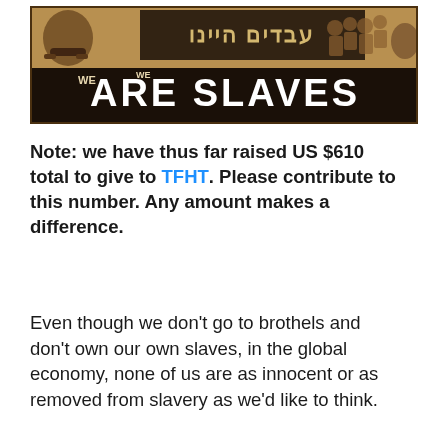[Figure (illustration): A sepia-toned banner/poster showing Hebrew text (עבדים היינו) and English text 'WE ARE SLAVES' in large bold letters, with images of enslaved people including chained hands and faces.]
Note: we have thus far raised US $610 total to give to TFHT. Please contribute to this number. Any amount makes a difference.
Even though we don't go to brothels and don't own our own slaves, in the global economy, none of us are as innocent or as removed from slavery as we'd like to think.